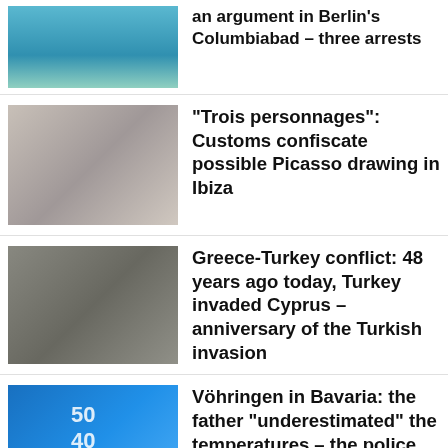Tour gas and blower Eleven injured in an argument in Berlin's Columbiabad – three arrests
"Trois personnages": Customs confiscate possible Picasso drawing in Ibiza
Greece-Turkey conflict: 48 years ago today, Turkey invaded Cyprus – anniversary of the Turkish invasion
Vöhringen in Bavaria: the father "underestimated" the temperatures – the police rescued the baby from the red-hot car
Killed in the Ukraine: Russian propaganda: Your son fell in the Ukraine war – parents buy his "dream